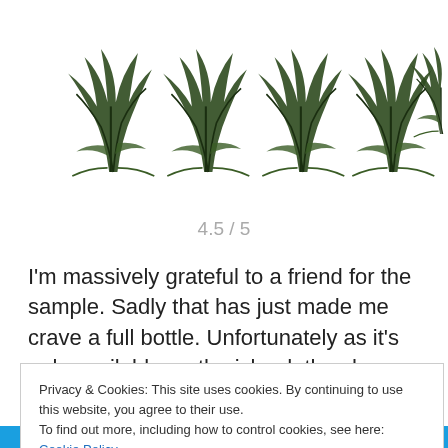[Figure (illustration): Five sugarcane plant icons arranged in a row as a rating display, representing a 4.5 out of 5 rating]
4.5 / 5
I'm massively grateful to a friend for the sample. Sadly that has just made me crave a full bottle. Unfortunately as it's only available on the island, the chances of me obtaining one are low. But if anyone can help me out, I'd be massively grateful.
Privacy & Cookies: This site uses cookies. By continuing to use this website, you agree to their use.
To find out more, including how to control cookies, see here: Cookie Policy
Close and accept